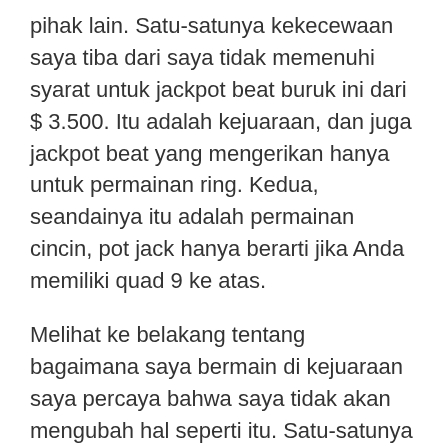pihak lain. Satu-satunya kekecewaan saya tiba dari saya tidak memenuhi syarat untuk jackpot beat buruk ini dari $ 3.500. Itu adalah kejuaraan, dan juga jackpot beat yang mengerikan hanya untuk permainan ring. Kedua, seandainya itu adalah permainan cincin, pot jack hanya berarti jika Anda memiliki quad 9 ke atas.
Melihat ke belakang tentang bagaimana saya bermain di kejuaraan saya percaya bahwa saya tidak akan mengubah hal seperti itu. Satu-satunya cara saya mungkin telah mendorong pra gagal saya bisa melempar. Tapi ini sebenarnya bukan bagaimana itu dimainkan.
Jadi apa yang kita semua harus sadari dan ingat, apakah ikut serta dalam Game Poker Gratis atau membeli pertandingan, adalah kenyataan bahwa dalam permainan poker seperti dalam gaya hidup apa pun yang mungkin terjadi. "Pelepasan" terkecil dapat muncul